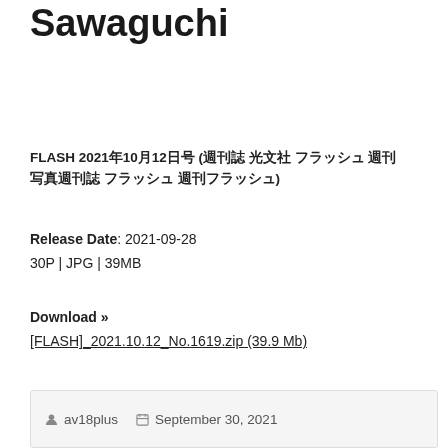Sawaguchi
FLASH 2021年10月12日号 (週刊誌 光文社 フラッシュ 週刊 写真週刊誌 フラッシュ 週刊フラッシュ)
Release Date: 2021-09-28
30P | JPG | 39MB
Download »
[FLASH]_2021.10.12_No.1619.zip (39.9 Mb)
av18plus  September 30, 2021